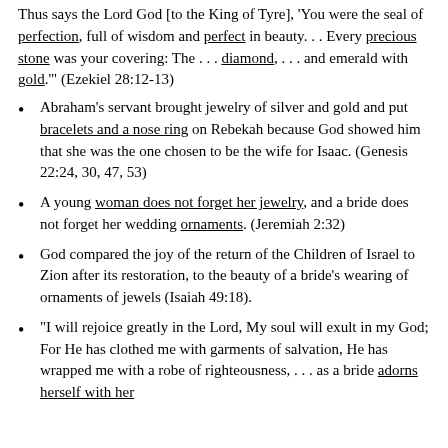Thus says the Lord God [to the King of Tyre], 'You were the seal of perfection, full of wisdom and perfect in beauty. . . Every precious stone was your covering: The . . . diamond, . . . and emerald with gold.'" (Ezekiel 28:12-13)
Abraham's servant brought jewelry of silver and gold and put bracelets and a nose ring on Rebekah because God showed him that she was the one chosen to be the wife for Isaac. (Genesis 22:24, 30, 47, 53)
A young woman does not forget her jewelry, and a bride does not forget her wedding ornaments. (Jeremiah 2:32)
God compared the joy of the return of the Children of Israel to Zion after its restoration, to the beauty of a bride's wearing of ornaments of jewels (Isaiah 49:18).
“I will rejoice greatly in the Lord, My soul will exult in my God; For He has clothed me with garments of salvation, He has wrapped me with a robe of righteousness, . . . as a bride adorns herself with her